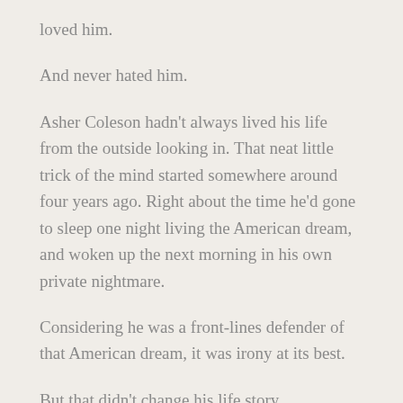loved him.
And never hated him.
Asher Coleson hadn't always lived his life from the outside looking in. That neat little trick of the mind started somewhere around four years ago. Right about the time he'd gone to sleep one night living the American dream, and woken up the next morning in his own private nightmare.
Considering he was a front-lines defender of that American dream, it was irony at its best.
But that didn't change his life story.